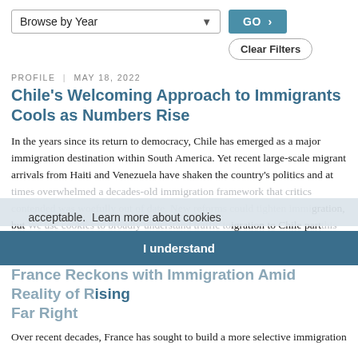[Figure (screenshot): Browse by Year dropdown filter with GO button and Clear Filters button]
PROFILE | MAY 18, 2022
Chile's Welcoming Approach to Immigrants Cools as Numbers Rise
In the years since its return to democracy, Chile has emerged as a major immigration destination within South America. Yet recent large-scale migrant arrivals from Haiti and Venezuela have shaken the country's politics and at times overwhelmed a decades-old immigration framework that critics contended was woefully out of date. New reforms could tighten immigration, but they could also broadly encourage immigration to Chile partially...
We use cookies to broadly understand traffic to this website. Continue browsing if this is acceptable.  Learn more about cookies
I understand
PROFILE | MAY 5, 2022
France Reckons with Immigration Amid Reality of Rising Far Right
Over recent decades, France has sought to build a more selective immigration